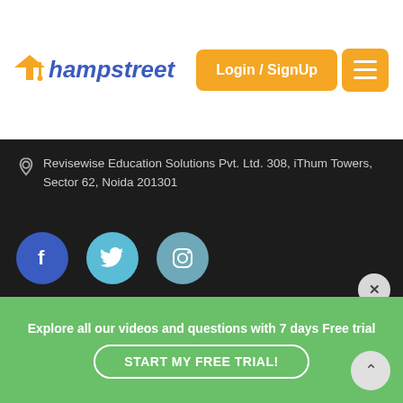Champstreet — Login / SignUp
Revisewise Education Solutions Pvt. Ltd. 308, iThum Towers, Sector 62, Noida 201301
[Figure (illustration): Social media icons: Facebook (dark blue circle), Twitter (light blue circle), Instagram (muted teal circle)]
Company
About Us
Explore all our videos and questions with 7 days Free trial
START MY FREE TRIAL!